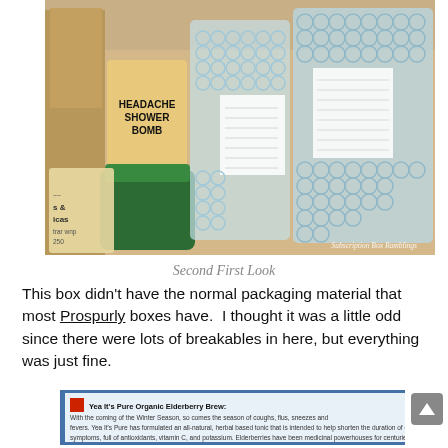[Figure (photo): A cardboard box opened to reveal items wrapped in bubble wrap, alongside a green jar and a product labeled 'Headache Shower Bomb'. Watermark reads 'Subscription Box Ramblings'.]
Second First Look
This box didn't have the normal packaging material that most Prospurly boxes have.  I thought it was a little odd since there were lots of breakables in here, but everything was just fine.
[Figure (screenshot): Partial view of a card or label with small text about 'New Organic Elderberry Brew' describing it as an all-natural herbal based tonic for cold and flu symptoms.]